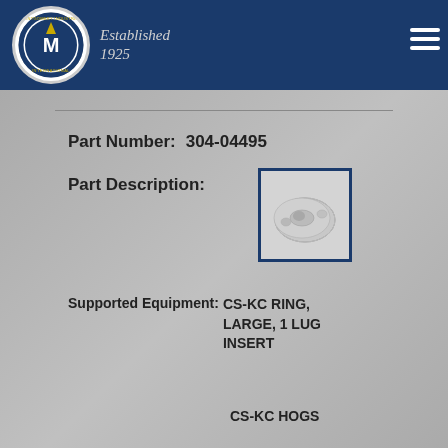[Figure (logo): Montgomery Industries International logo — circular badge with M letter and arrow, 'Established 1925' text in italic beside it, on dark navy header bar]
Part Number:  304-04495
Part Description:
[Figure (photo): Photo of a circular metal ring part — CS-KC RING, LARGE, 1 LUG INSERT — shown on light grey background inside navy border box]
Supported Equipment: CS-KC RING, LARGE, 1 LUG INSERT
CS-KC HOGS